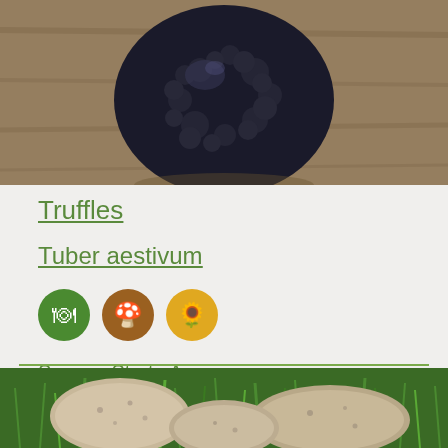[Figure (photo): Close-up photo of a black truffle fungus on a wooden surface]
Truffles
Tuber aestivum
[Figure (infographic): Three circular icons: green fork/knife icon, brown mushroom icon, yellow sunflower/sun icon]
Season Start : Aug
Season End : Nov
[Figure (photo): Photo of mushrooms lying in green grass, view from above showing caps]